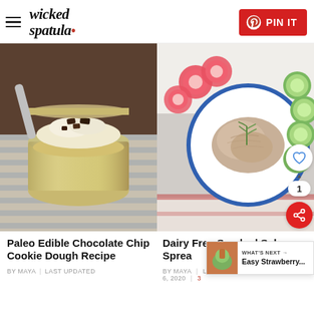wicked spatula | PIN IT
[Figure (photo): Paleo edible chocolate chip cookie dough in a glass jar with chocolate chunks on top, on a striped cloth]
[Figure (photo): Dairy free smoked salmon spread on a white plate with blue rim, surrounded by sliced radishes and cucumber]
Paleo Edible Chocolate Chip Cookie Dough Recipe
Dairy Free Smoked Salmon Spread
BY MAYA | LAST UPDATED
BY MAYA | LAST UPDATED ON DECEMBER 6, 2020 | 3